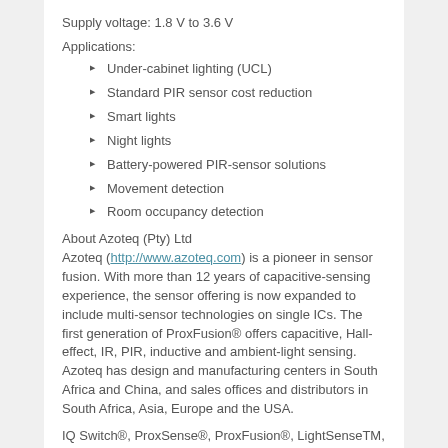Supply voltage: 1.8 V to 3.6 V
Applications:
Under-cabinet lighting (UCL)
Standard PIR sensor cost reduction
Smart lights
Night lights
Battery-powered PIR-sensor solutions
Movement detection
Room occupancy detection
About Azoteq (Pty) Ltd
Azoteq (http://www.azoteq.com) is a pioneer in sensor fusion. With more than 12 years of capacitive-sensing experience, the sensor offering is now expanded to include multi-sensor technologies on single ICs. The first generation of ProxFusion® offers capacitive, Hall-effect, IR, PIR, inductive and ambient-light sensing. Azoteq has design and manufacturing centers in South Africa and China, and sales offices and distributors in South Africa, Asia, Europe and the USA.
IQ Switch®, ProxSense®, ProxFusion®, LightSenseTM,